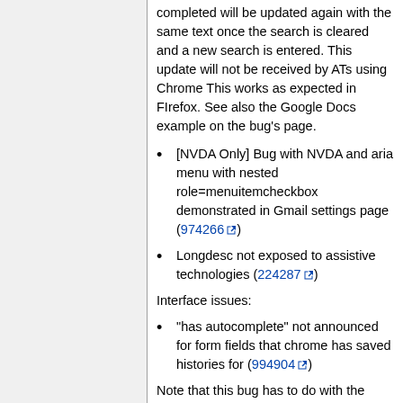completed will be updated again with the same text once the search is cleared and a new search is entered. This update will not be received by ATs using Chrome This works as expected in FIrefox. See also the Google Docs example on the bug's page.
[NVDA Only] Bug with NVDA and aria menu with nested role=menuitemcheckbox demonstrated in Gmail settings page (974266)
Longdesc not exposed to assistive technologies (224287)
Interface issues:
"has autocomplete" not announced for form fields that chrome has saved histories for (994904)
Note that this bug has to do with the